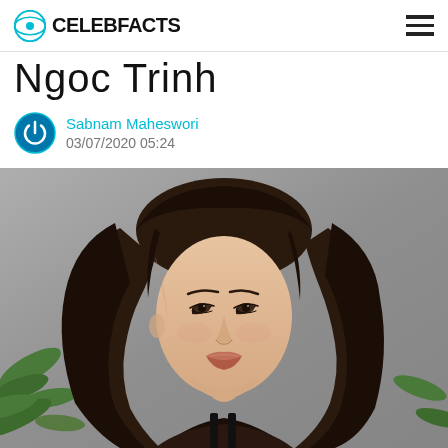CELEBFACTS
Ngoc Trinh
Sabnam Maheswori
03/07/2020 05:24
[Figure (photo): Portrait photo of Ngoc Trinh, a Vietnamese celebrity, with long dark wavy hair, wearing a black top, posed against a grey background with green leaves visible on the left side.]